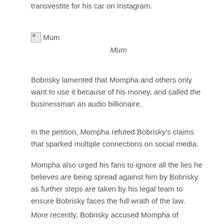transvestite for his car on Instagram.
[Figure (photo): Broken image placeholder labeled Mum]
Mum
Bobrisky lamented that Mompha and others only want to use it because of his money, and called the businessman an audio billionaire.
In the petition, Mompha refuted Bobrisky’s claims that sparked multiple connections on social media.
Mompha also urged his fans to ignore all the lies he believes are being spread against him by Bobrisky as further steps are taken by his legal team to ensure Bobrisky faces the full wrath of the law.
More recently, Bobrisky accused Mompha of financing Tonto Dikeh’s expensive lifestyle. Mompha didn’t hesitate to warn the controversial crossdresser on Instagram to refrain from mentioning his name in